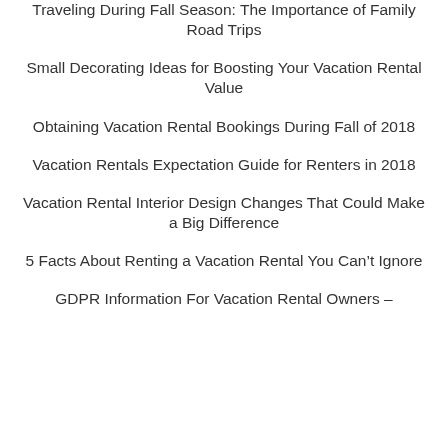Traveling During Fall Season: The Importance of Family Road Trips
Small Decorating Ideas for Boosting Your Vacation Rental Value
Obtaining Vacation Rental Bookings During Fall of 2018
Vacation Rentals Expectation Guide for Renters in 2018
Vacation Rental Interior Design Changes That Could Make a Big Difference
5 Facts About Renting a Vacation Rental You Can't Ignore
GDPR Information For Vacation Rental Owners –